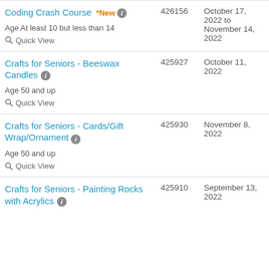| Course | ID | Date |
| --- | --- | --- |
| Coding Crash Course *New [info] Age At least 10 but less than 14 Quick View | 426156 | October 17, 2022 to November 14, 2022 |
| Crafts for Seniors - Beeswax Candles [info] Age 50 and up Quick View | 425927 | October 11, 2022 |
| Crafts for Seniors - Cards/Gift Wrap/Ornament [info] Age 50 and up Quick View | 425930 | November 8, 2022 |
| Crafts for Seniors - Painting Rocks with Acrylics [info] | 425910 | September 13, 2022 |